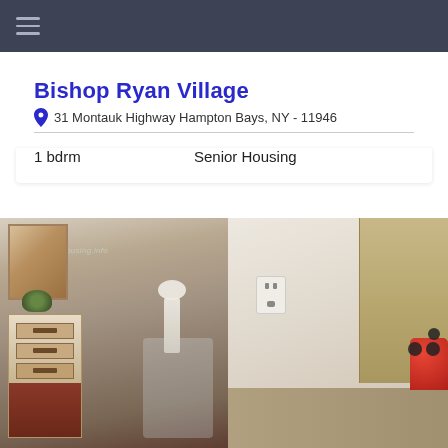Bishop Ryan Village
31 Montauk Highway Hampton Bays, NY - 11946
1 bdrm
Senior Housing
[Figure (photo): Two interior photos of an apartment unit: left photo shows a dresser with drawers, potted plant, artwork, and a chair; right photo shows a kitchen area with cabinets, outlet, counter, and stove burners with a red pot.]